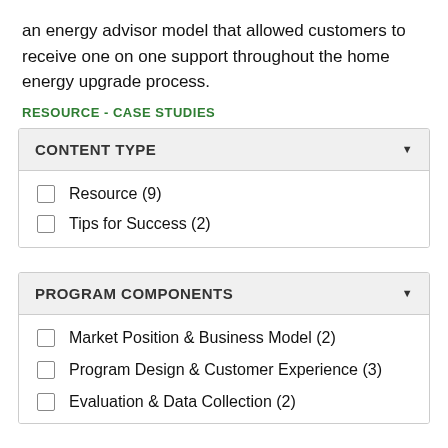an energy advisor model that allowed customers to receive one on one support throughout the home energy upgrade process.
RESOURCE - CASE STUDIES
| CONTENT TYPE |
| --- |
| Resource (9) |
| Tips for Success (2) |
| PROGRAM COMPONENTS |
| --- |
| Market Position & Business Model (2) |
| Program Design & Customer Experience (3) |
| Evaluation & Data Collection (2) |